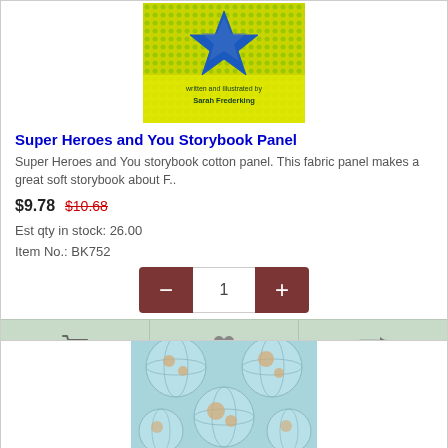[Figure (photo): Super Heroes and You storybook panel book cover image — yellow and green comic-style cover with blue star, text 'written and Illustrated by Sarah Frederking']
Super Heroes and You Storybook Panel
Super Heroes and You storybook cotton panel. This fabric panel makes a great soft storybook about F..
$9.78  $10.68
Est qty in stock: 26.00
Item No.: BK752
[Figure (photo): World map fabric panel showing vintage-style globe hemispheres in teal and beige tones]